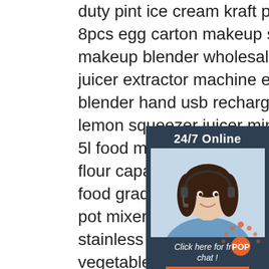duty pint ice cream kraft paper soup bowl lid
8pcs egg carton makeup sponge non latex
makeup blender wholesale makeup sponges
juicer extractor machine electric portable
blender hand usb rechargeable mix...
lemon squeezer juicer mini blender...
5l food mixer chain drive strong po... flour capacity
food grade gas heating jacketed ke...
pot mixer stirrer food processing m...
stainless steel meat food broken cu...
vegetable chopping machine
stainless steel high quality lunch box kids
double wall insulated vacuum lunch box
camping hiking travel vacuum food storage...
small thermal insulated food container
royal hotel serving dishes buffet chafer
[Figure (other): 24/7 online chat widget with photo of woman wearing headset, 'Click here for free chat!' text and QUOTATION button]
[Figure (logo): POP logo in orange dots pattern]